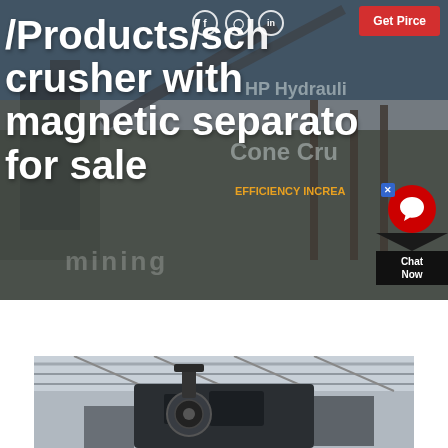[Figure (photo): Industrial stone crusher / aggregate processing machinery facility with conveyor belts and heavy equipment photographed outdoors against a light sky. Large white bold text overlays the image showing the page breadcrumb path and title.]
/Products/sch... crusher with magnetic separator for sale
[Figure (photo): Close-up interior photo of magnetic separator equipment showing dark industrial machinery components inside a facility with a white/grey roof structure visible above.]